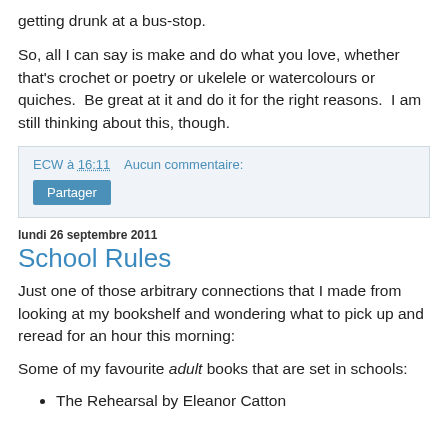getting drunk at a bus-stop.
So, all I can say is make and do what you love, whether that's crochet or poetry or ukelele or watercolours or quiches.  Be great at it and do it for the right reasons.  I am still thinking about this, though.
ECW à 16:11    Aucun commentaire:
Partager
lundi 26 septembre 2011
School Rules
Just one of those arbitrary connections that I made from looking at my bookshelf and wondering what to pick up and reread for an hour this morning:
Some of my favourite adult books that are set in schools:
The Rehearsal by Eleanor Catton